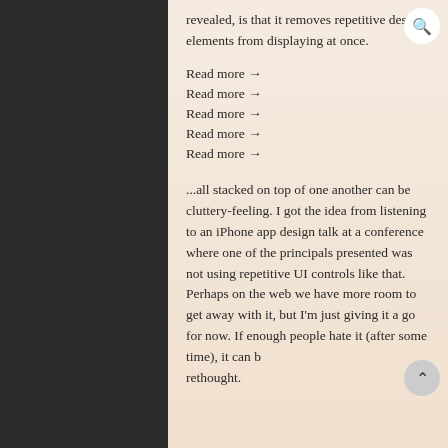revealed, is that it removes repetitive design elements from displaying at once.
Read more →
Read more →
Read more →
Read more →
Read more →
...all stacked on top of one another can be cluttery-feeling. I got the idea from listening to an iPhone app design talk at a conference where one of the principals presented was not using repetitive UI controls like that. Perhaps on the web we have more room to get away with it, but I'm just giving it a go for now. If enough people hate it (after some time), it can be rethought.